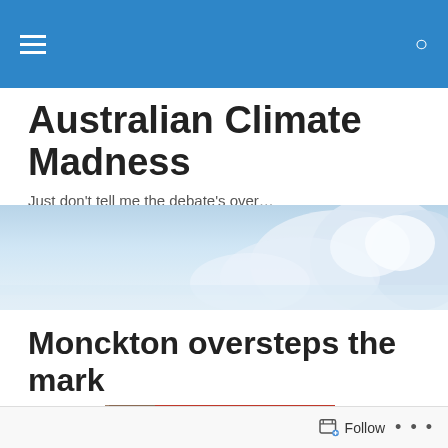Navigation bar with menu and search icons
Australian Climate Madness
Just don't tell me the debate's over…
[Figure (photo): Panoramic banner image showing clouds and sky in light blue tones]
Monckton oversteps the mark
[Figure (photo): Book or sign showing text 'Australian government economist' with a circular graphic below]
Follow • • •